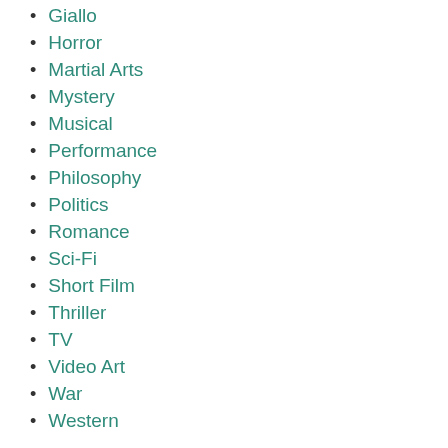Giallo
Horror
Martial Arts
Mystery
Musical
Performance
Philosophy
Politics
Romance
Sci-Fi
Short Film
Thriller
TV
Video Art
War
Western
COUNTRIES
Afghanistan